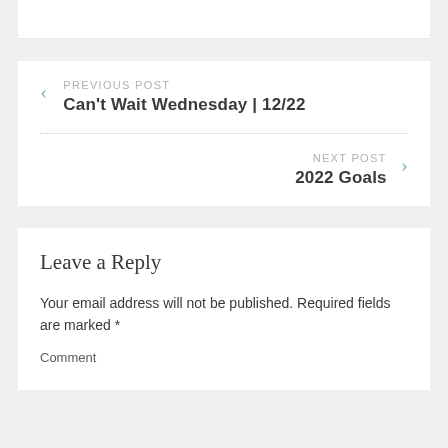PREVIOUS POST
Can't Wait Wednesday | 12/22
NEXT POST
2022 Goals
Leave a Reply
Your email address will not be published. Required fields are marked *
Comment